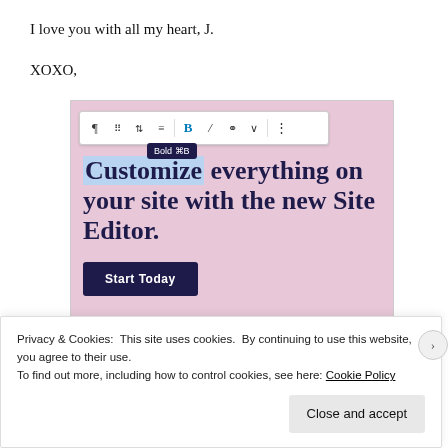I love you with all my heart, J.
XOXO,
[Figure (screenshot): WordPress.com Site Editor promotional screenshot showing a toolbar with Bold button active and tooltip 'Bold ⌘B', headline 'Customize everything on your site with the new Site Editor.', a 'Start Today' button, and WordPress.com logo bar at the bottom, all on a pink background.]
Privacy & Cookies: This site uses cookies. By continuing to use this website, you agree to their use.
To find out more, including how to control cookies, see here: Cookie Policy
Close and accept